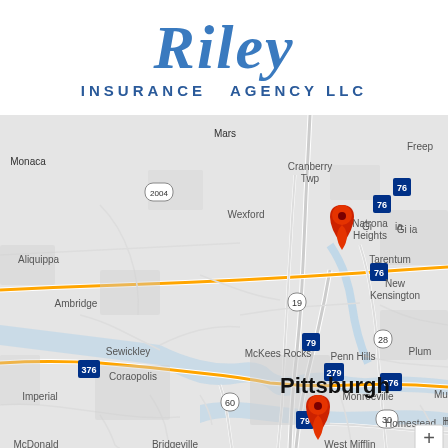Riley INSURANCE AGENCY LLC
[Figure (map): Google Maps screenshot showing the Pittsburgh, Pennsylvania area with two red location pin markers. One pin is placed near Gibsonia/Wexford area in the north, and another pin is placed near downtown Pittsburgh/south side. Surrounding areas visible include Monaca, Cranberry Twp, Mars, Aliquippa, Ambridge, Sewickley, Coraopolis, McKees Rocks, Imperial, McDonald, Bridgeville, Homestead, West Mifflin, Penn Hills, Plum, Monroeville, Murrysville, Natrona Heights, Tarentum, New Kensington, Freeport. Interstate routes 76, 79, 279, 376, 19, 28, 30, 60 visible.]